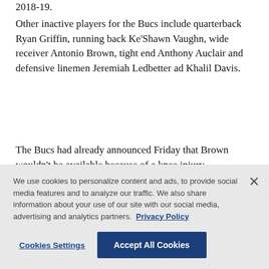2018-19.
Other inactive players for the Bucs include quarterback Ryan Griffin, running back Ke'Shawn Vaughn, wide receiver Antonio Brown, tight end Anthony Auclair and defensive linemen Jeremiah Ledbetter ad Khalil Davis.
The Bucs had already announced Friday that Brown wouldn't be available because of a knee injury.
Inactive players for Green Bay include quarterback
We use cookies to personalize content and ads, to provide social media features and to analyze our traffic. We also share information about your use of our site with our social media, advertising and analytics partners. Privacy Policy
Cookies Settings
Accept All Cookies